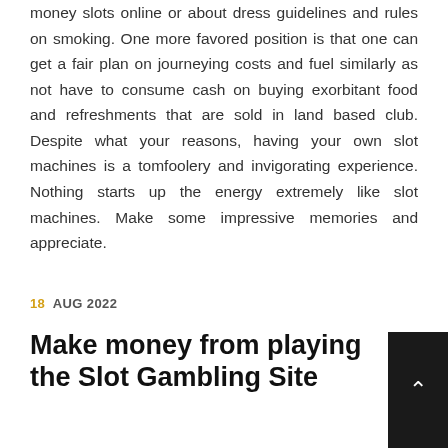money slots online or about dress guidelines and rules on smoking. One more favored position is that one can get a fair plan on journeying costs and fuel similarly as not have to consume cash on buying exorbitant food and refreshments that are sold in land based club. Despite what your reasons, having your own slot machines is a tomfoolery and invigorating experience. Nothing starts up the energy extremely like slot machines. Make some impressive memories and appreciate.
18 AUG 2022
Make money from playing the Slot Gambling Site